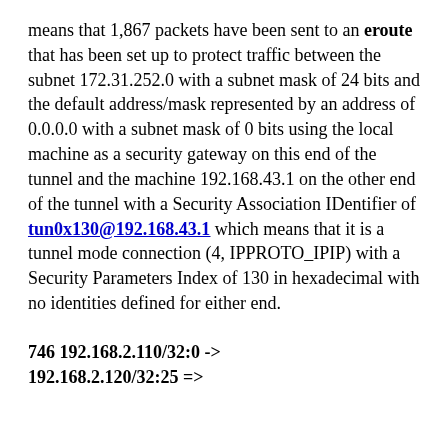means that 1,867 packets have been sent to an eroute that has been set up to protect traffic between the subnet 172.31.252.0 with a subnet mask of 24 bits and the default address/mask represented by an address of 0.0.0.0 with a subnet mask of 0 bits using the local machine as a security gateway on this end of the tunnel and the machine 192.168.43.1 on the other end of the tunnel with a Security Association IDentifier of tun0x130@192.168.43.1 which means that it is a tunnel mode connection (4, IPPROTO_IPIP) with a Security Parameters Index of 130 in hexadecimal with no identities defined for either end.
746 192.168.2.110/32:0 -> 192.168.2.120/32:25 =>